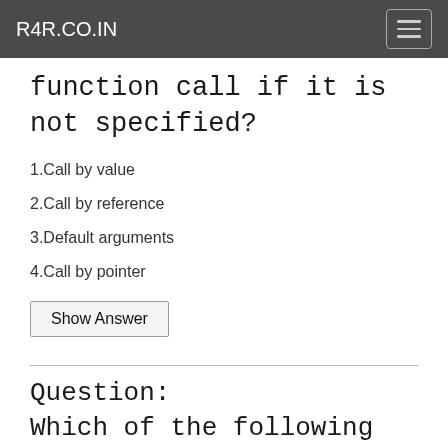R4R.CO.IN
function call if it is not specified?
1.Call by value
2.Call by reference
3.Default arguments
4.Call by pointer
Show Answer
Question:
Which of the following concepts is used to